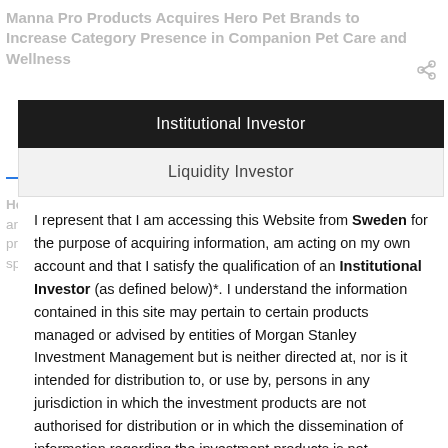Manna Pro Products Acquires Hero Pet Brands to Increase Category Presence in Companion Pet Care and Wellness
Hero Pet Brands is a family of high-quality, innovative and trusted brands with global, omni-channel presence and deep consumer relationships in pet specialty and FDM channels. The brands include Vets...
Institutional Investor
Liquidity Investor
I represent that I am accessing this Website from Sweden for the purpose of acquiring information, am acting on my own account and that I satisfy the qualification of an Institutional Investor (as defined below)*. I understand the information contained in this site may pertain to certain products managed or advised by entities of Morgan Stanley Investment Management but is neither directed at, nor is it intended for distribution to, or use by, persons in any jurisdiction in which the investment products are not authorised for distribution or in which the dissemination of information regarding the investment products is not permitted.